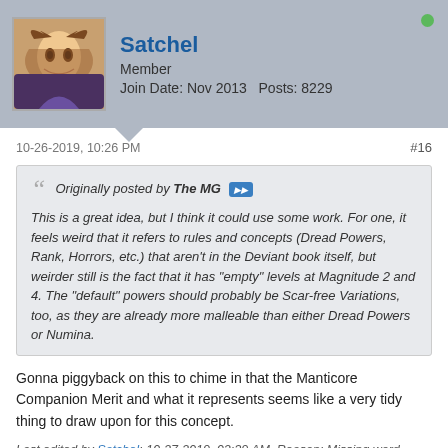Satchel
Member
Join Date: Nov 2013  Posts: 8229
10-26-2019, 10:26 PM
#16
Originally posted by The MG
This is a great idea, but I think it could use some work. For one, it feels weird that it refers to rules and concepts (Dread Powers, Rank, Horrors, etc.) that aren't in the Deviant book itself, but weirder still is the fact that it has "empty" levels at Magnitude 2 and 4. The "default" powers should probably be Scar-free Variations, too, as they are already more malleable than either Dread Powers or Numina.
Gonna piggyback on this to chime in that the Manticore Companion Merit and what it represents seems like a very tidy thing to draw upon for this concept.
Last edited by Satchel; 10-27-2019, 02:39 AM. Reason: Missing word.
Resident Lore-Hound